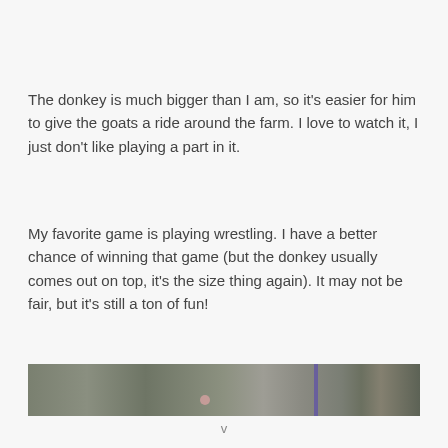The donkey is much bigger than I am, so it's easier for him to give the goats a ride around the farm. I love to watch it, I just don't like playing a part in it.
My favorite game is playing wrestling. I have a better chance of winning that game (but the donkey usually comes out on top, it's the size thing again). It may not be fair, but it's still a ton of fun!
[Figure (photo): A narrow horizontal photo strip showing what appears to be an outdoor farm or field scene, with muted green-grey tones, a small pink/orange element near center bottom, and a purple vertical element at the right side.]